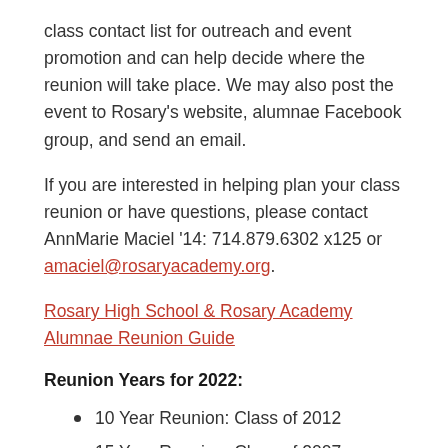class contact list for outreach and event promotion and can help decide where the reunion will take place. We may also post the event to Rosary's website, alumnae Facebook group, and send an email.
If you are interested in helping plan your class reunion or have questions, please contact AnnMarie Maciel '14: 714.879.6302 x125 or amaciel@rosaryacademy.org.
Rosary High School & Rosary Academy Alumnae Reunion Guide
Reunion Years for 2022:
10 Year Reunion: Class of 2012
15 Year Reunion: Class of 2007
20 Year Reunion: Class of 2002
25 Year Reunion: Class of 1997